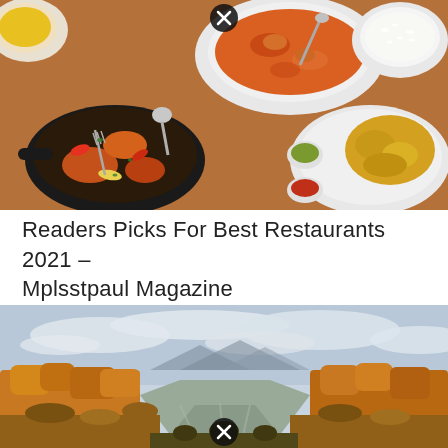[Figure (photo): Overhead view of Indian food dishes including butter chicken curry, sizzling tandoori chicken on a cast iron skillet, yellow rice, green chutney, red sauce, and a bowl of white rice on a brown background. A close button (X) icon overlays the top center of the image.]
Readers Picks For Best Restaurants 2021 – Mplsstpaul Magazine
[Figure (photo): Aerial landscape photo of a river winding through autumn foliage with golden and orange trees, scrubby brush along the banks, mountains in the background, and a partly cloudy sky. A close button (X) icon overlays the bottom center of the image.]